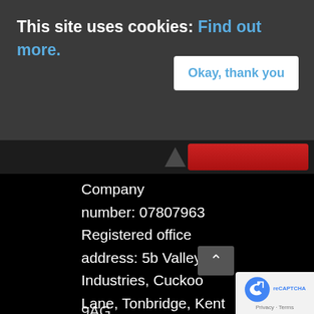This site uses cookies: Find out more.
Okay, thank you
Company number: 07807963 Registered office address: 5b Valley Industries, Cuckoo Lane, Tonbridge, Kent United Kingdom, T 9AG